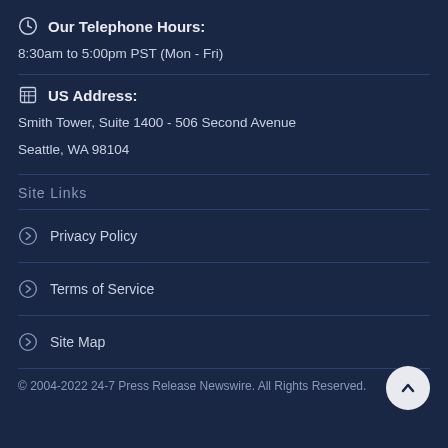Our Telephone Hours:
8:30am to 5:00pm PST (Mon - Fri)
US Address:
Smith Tower, Suite 1400 - 506 Second Avenue
Seattle, WA 98104
Site Links
Privacy Policy
Terms of Service
Site Map
© 2004-2022 24-7 Press Release Newswire. All Rights Reserved.